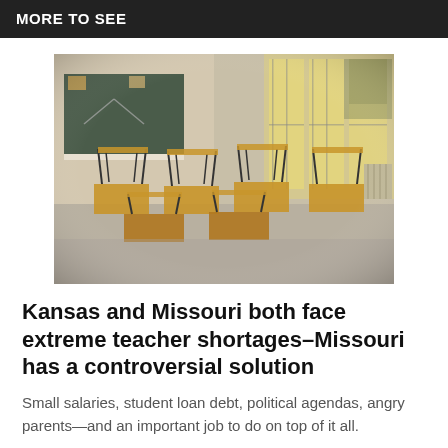MORE TO SEE
[Figure (photo): Empty classroom with chairs stacked upside-down on wooden desks, a chalkboard on the left wall, and large windows on the right letting in natural light.]
Kansas and Missouri both face extreme teacher shortages–Missouri has a controversial solution
Small salaries, student loan debt, political agendas, angry parents—and an important job to do on top of it all.